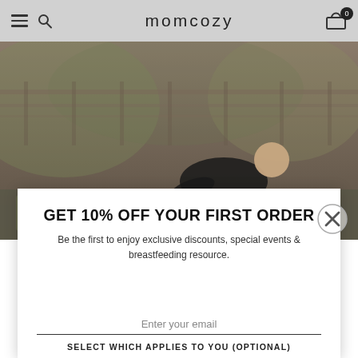momcozy
[Figure (photo): Woman doing yoga/stretching on a mat on an outdoor deck, wearing dark athletic clothing and heathered grey leggings, with wooden railing and blurred foliage in the background.]
GET 10% OFF YOUR FIRST ORDER
Be the first to enjoy exclusive discounts, special events & breastfeeding resource.
Enter your email
SELECT WHICH APPLIES TO YOU (OPTIONAL)